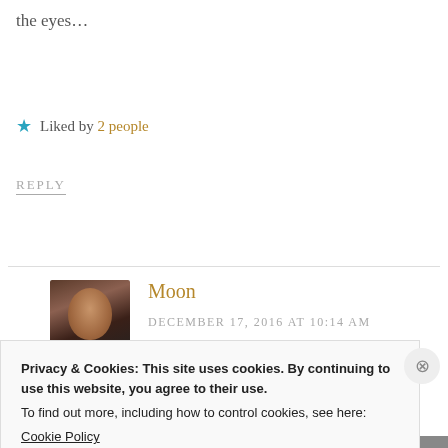the eyes...
★ Liked by 2 people
REPLY
Moon
DECEMBER 17, 2016 AT 10:14 AM
[Figure (photo): Avatar photo of commenter Moon — a woman with dark hair smiling]
Absolutely! Thanks for visiting my blog
Privacy & Cookies: This site uses cookies. By continuing to use this website, you agree to their use.
To find out more, including how to control cookies, see here:
Cookie Policy
Close and accept